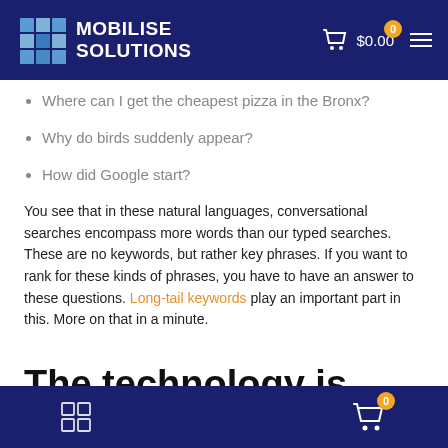MOBILISE SOLUTIONS | $0.00
Where can I get the cheapest pizza in the Bronx?
Why do birds suddenly appear?
How did Google start?
You see that in these natural languages, conversational searches encompass more words than our typed searches. These are no keywords, but rather key phrases. If you want to rank for these kinds of phrases, you have to have an answer to these questions. Long-tail keywords play an important part in this. More on that in a minute.
The technology is getting smarter